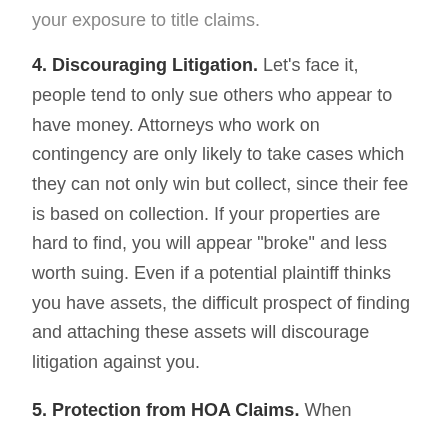your exposure to title claims.
4. Discouraging Litigation. Let’s face it, people tend to only sue others who appear to have money. Attorneys who work on contingency are only likely to take cases which they can not only win but collect, since their fee is based on collection. If your properties are hard to find, you will appear “broke” and less worth suing. Even if a potential plaintiff thinks you have assets, the difficult prospect of finding and attaching these assets will discourage litigation against you.
5. Protection from HOA Claims. When